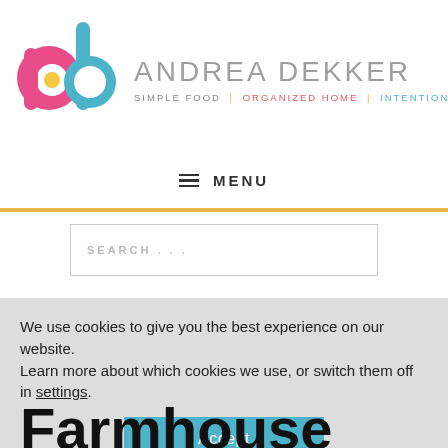[Figure (logo): Andrea Dekker blog logo with stylized 'ad' letters in pink, teal, and yellow, followed by text 'ANDREA DEKKER' and tagline 'SIMPLE FOOD | ORGANIZED HOME | INTENTIONAL LIVING']
≡  MENU
SEARCH . . .
We use cookies to give you the best experience on our website.
Learn more about which cookies we use, or switch them off in settings.
Accept
Farmhouse